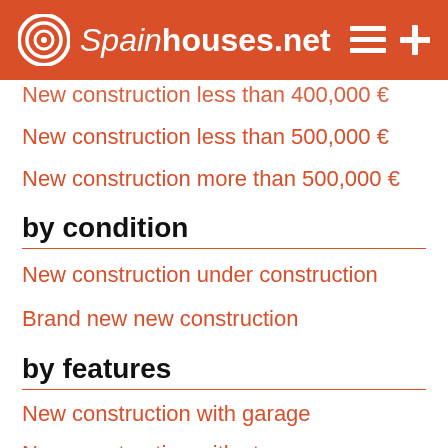Spainhouses.net
New construction less than 400,000 €
New construction less than 500,000 €
New construction more than 500,000 €
by condition
New construction under construction
Brand new new construction
by features
New construction with garage
New construction with storeroom
New construction with terrace
New construction with pool
New construction with gardens
New construction with lift